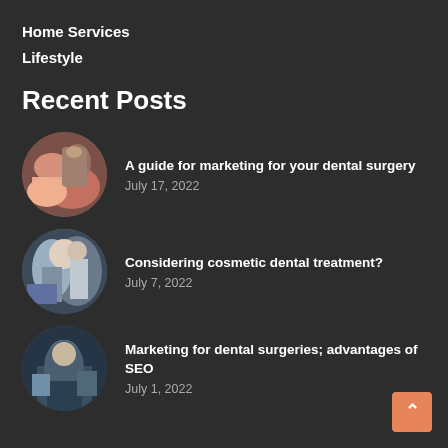Home Services
Lifestyle
Recent Posts
[Figure (photo): Circular photo of a dental office interior with an orange/red dental chair]
A guide for marketing for your dental surgery
July 17, 2022
[Figure (photo): Circular photo of a dentist treating a patient in a dental chair]
Considering cosmetic dental treatment?
July 7, 2022
[Figure (photo): Circular photo of a dental professional wearing scrubs and gloves]
Marketing for dental surgeries; advantages of SEO
July 1, 2022